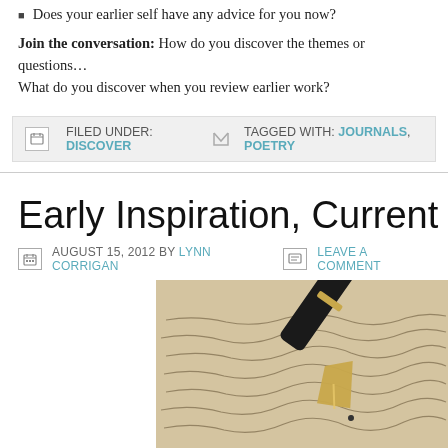Does your earlier self have any advice for you now?
Join the conversation: How do you discover the themes or questions... What do you discover when you review earlier work?
FILED UNDER: DISCOVER   TAGGED WITH: JOURNALS, POETRY
Early Inspiration, Current Inspirat…
AUGUST 15, 2012 BY LYNN CORRIGAN   LEAVE A COMMENT
[Figure (photo): A close-up photograph of a fountain pen with a gold nib resting on handwritten cursive text on aged paper.]